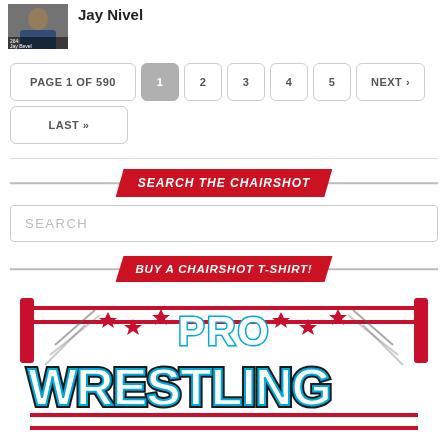[Figure (photo): Small thumbnail photo of a man in a suit jacket]
Jay Nivel
PAGE 1 OF 590  1  2  3  4  5  NEXT ›  LAST »
SEARCH THE CHAIRSHOT
SEARCH
BUY A CHAIRSHOT T-SHIRT!
[Figure (logo): Pro Wrestling logo with red ring posts, Chicago-style stars, and large bold text reading PRO WRESTLING]